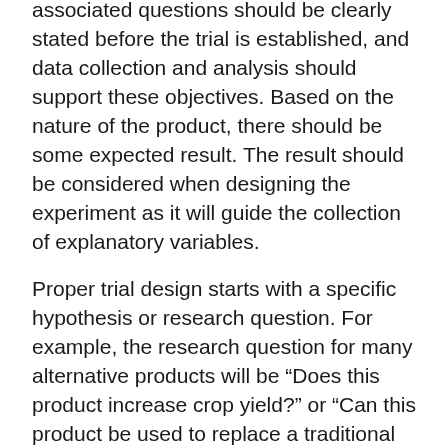associated questions should be clearly stated before the trial is established, and data collection and analysis should support these objectives. Based on the nature of the product, there should be some expected result. The result should be considered when designing the experiment as it will guide the collection of explanatory variables.
Proper trial design starts with a specific hypothesis or research question. For example, the research question for many alternative products will be “Does this product increase crop yield?” or “Can this product be used to replace a traditional product?” The research design should therefore be structured to clearly answer this question and be of sufficient quality that confounding effects or natural variability will not result in a false positive. If data supports that a product did increase yield, then a second question is likely “Is increased yield worth the additional expense from the alternative product?” A well-designed trial will address both questions while being of sufficient quality to withstand